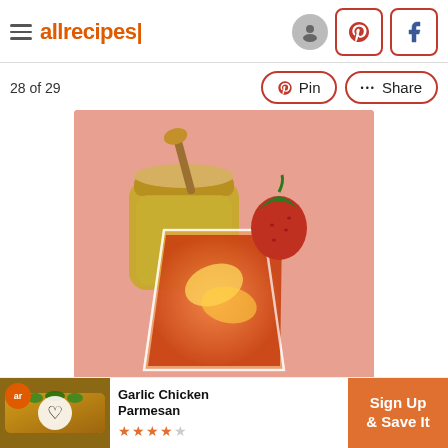allrecipes
28 of 29
[Figure (photo): A glass of pink honey lemonade drink garnished with a strawberry and lemon slice, with a jar of honey in the background on a pink surface]
Rico's Passionate Pink Honey
Lemo...
[Figure (photo): Advertisement: Garlic Chicken Parmesan - Sign Up & Save It]